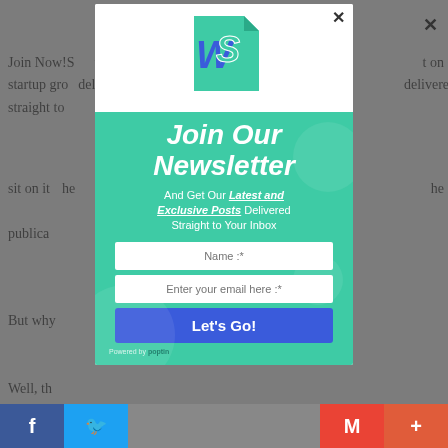Join Now!S... ...t on startup gro... ...delivered straight to
sit on it... ...he publica...
But why...
Well, th...
[Figure (screenshot): Newsletter popup modal overlay with WS logo, green background, title 'Join Our Newsletter', subtitle 'And Get Our Latest and Exclusive Posts Delivered Straight to Your Inbox', name and email input fields, and a 'Let's Go!' button. Bottom social sharing bar with Facebook, Twitter, Gmail and Plus icons.]